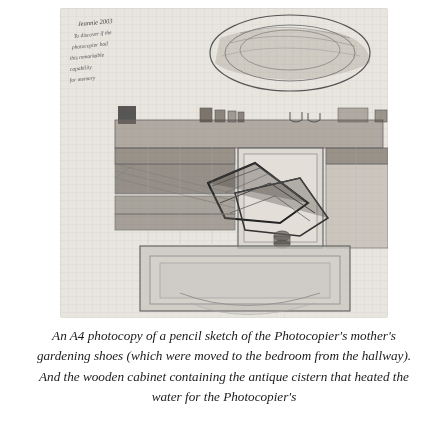[Figure (illustration): A pencil sketch on lined/grid paper showing a kitchen interior with a sink, wooden cabinet, gardening shoes (rendered as angular geometric shapes), shelves with objects, and handwritten notes in the upper left corner. The sketch is rendered in graphite with cross-hatching and shading.]
An A4 photocopy of a pencil sketch of the Photocopier's mother's gardening shoes (which were moved to the bedroom from the hallway). And the wooden cabinet containing the antique cistern that heated the water for the Photocopier's